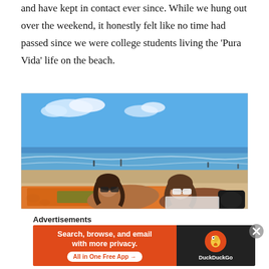and have kept in contact ever since. While we hung out over the weekend, it honestly felt like no time had passed since we were college students living the ‘Pura Vida’ life on the beach.
[Figure (photo): Two young women lying on a sandy beach, smiling at the camera. They are on colorful towels/mats. The ocean with waves is visible in the background along with a blue sky and some clouds. Other beachgoers are visible in the distance.]
Advertisements
[Figure (other): DuckDuckGo advertisement banner: orange left section reading 'Search, browse, and email with more privacy. All in One Free App' and dark right section with DuckDuckGo duck logo and brand name.]